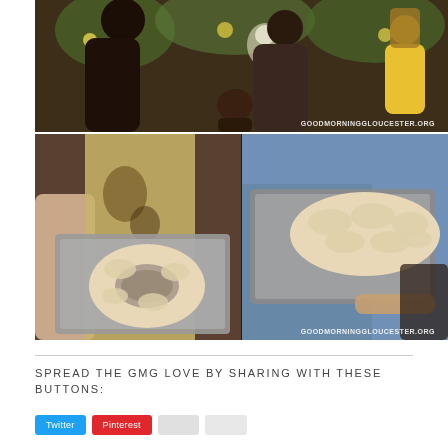[Figure (photo): Top photo: A group of people inside a decorated room with flowers and ornaments. Two women face each other in conversation; others visible in background including children. Watermark: GOODMORNINGGLOUCESTER.ORG]
[Figure (photo): Bottom photo: Two side-by-side images. Left: person holding a baking tray with a round ring-shaped raw bread dough. Right: person in blue shirt holding a baking tray with an elongated braided raw bread dough. Watermark: GOODMORNINGGLOUCESTER.ORG]
SPREAD THE GMG LOVE BY SHARING WITH THESE BUTTONS: